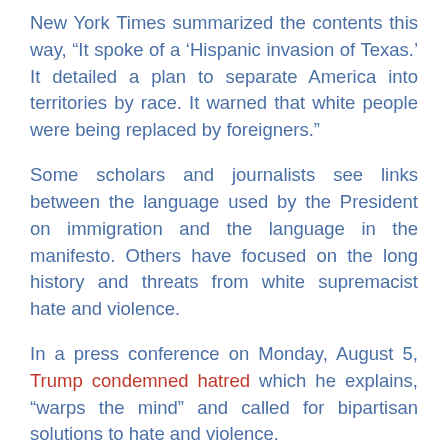New York Times summarized the contents this way, “It spoke of a ‘Hispanic invasion of Texas.’ It detailed a plan to separate America into territories by race. It warned that white people were being replaced by foreigners.”
Some scholars and journalists see links between the language used by the President on immigration and the language in the manifesto. Others have focused on the long history and threats from white supremacist hate and violence.
In a press conference on Monday, August 5, Trump condemned hatred which he explains, “warps the mind” and called for bipartisan solutions to hate and violence.